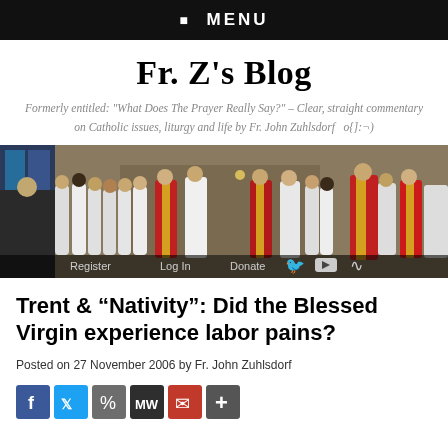☰  MENU
Fr. Z's Blog
Formerly entitled: "What Does The Prayer Really Say?" – Clear, straight commentary on Catholic issues, liturgy and life by Fr. John Zuhlsdorf   o{]:¬)
[Figure (photo): Photo of a Catholic Mass with priests and altar servers in red and white vestments inside a church]
Trent & “Nativity”: Did the Blessed Virgin experience labor pains?
Posted on 27 November 2006 by Fr. John Zuhlsdorf
[Figure (other): Social media share buttons: Facebook, Twitter, share link, MeWe, email, plus]